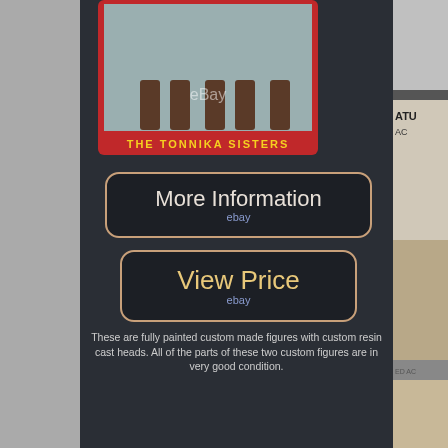[Figure (photo): Product image showing The Tonnika Sisters custom figures against red background with eBay watermark and yellow text 'THE TONNIKA SISTERS']
More Information
ebay
View Price
ebay
These are fully painted custom made figures with custom resin cast heads. All of the parts of these two custom figures are in very good condition.
These two custom multi-articulated figures will come from a non-smoking home. This is a pre-order set of custom figures.
Yes, I created the custom figures seen in the pictures of this listing. You will receive two custom figures similar to the ones seen on the pictures. MORE PICTURES CAN BE SEEN BELOW!! Custom Star Wars THE TONNIKA SISTERS Figures.